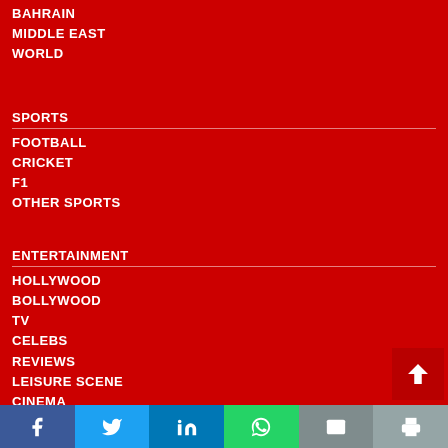BAHRAIN
MIDDLE EAST
WORLD
SPORTS
FOOTBALL
CRICKET
F1
OTHER SPORTS
ENTERTAINMENT
HOLLYWOOD
BOLLYWOOD
TV
CELEBS
REVIEWS
LEISURE SCENE
CINEMA
[Figure (infographic): Social sharing bar with Facebook, Twitter, LinkedIn, WhatsApp, Email, Print buttons]